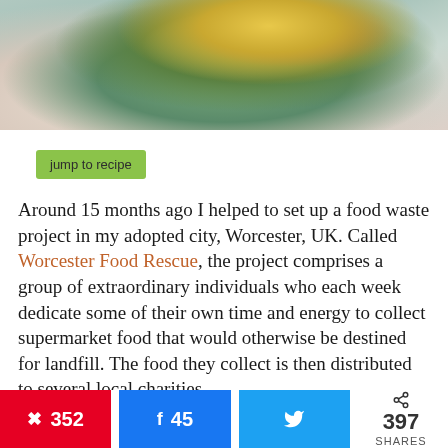[Figure (photo): Close-up photo of a food dish on a teal/blue-green plate on a white lacy surface — appears to be a vegetable patty or cake with herbs]
jump to recipe
Around 15 months ago I helped to set up a food waste project in my adopted city, Worcester, UK. Called Worcester Food Rescue, the project comprises a group of extraordinary individuals who each week dedicate some of their own time and energy to collect supermarket food that would otherwise be destined for landfill. The food they collect is then distributed to several local charities.
It has been eye-opening to see at first hand how much
352  45  397 SHARES